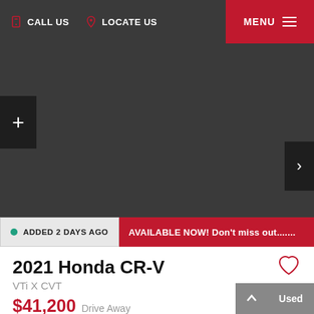CALL US  LOCATE US  MENU
[Figure (photo): Dark grey car image area (vehicle photo placeholder) with a + button on the left and a next arrow button on the right]
ADDED 2 DAYS AGO
AVAILABLE NOW! Don't miss out.......
2021 Honda CR-V
VTi X CVT
$41,200 Drive Away
Used